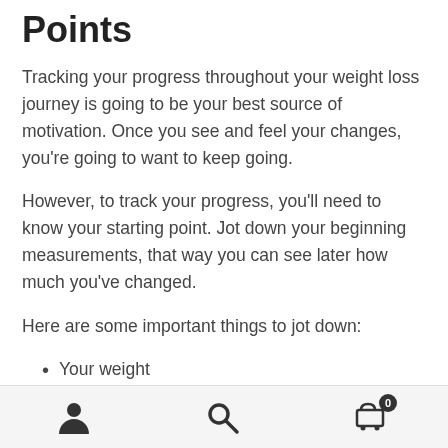Points
Tracking your progress throughout your weight loss journey is going to be your best source of motivation. Once you see and feel your changes, you're going to want to keep going.
However, to track your progress, you'll need to know your starting point. Jot down your beginning measurements, that way you can see later how much you've changed.
Here are some important things to jot down:
Your weight
Your measurements (usually chest, waist, a…